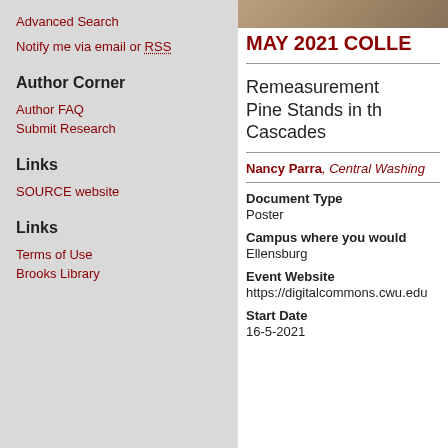Advanced Search
Notify me via email or RSS
Author Corner
Author FAQ
Submit Research
Links
SOURCE website
Links
Terms of Use
Brooks Library
[Figure (photo): Partial photo strip at top of right panel]
MAY 2021 COLLE
Remeasurement Pine Stands in th Cascades
Nancy Parra, Central Washing
Document Type
Poster
Campus where you would
Ellensburg
Event Website
https://digitalcommons.cwu.edu
Start Date
16-5-2021